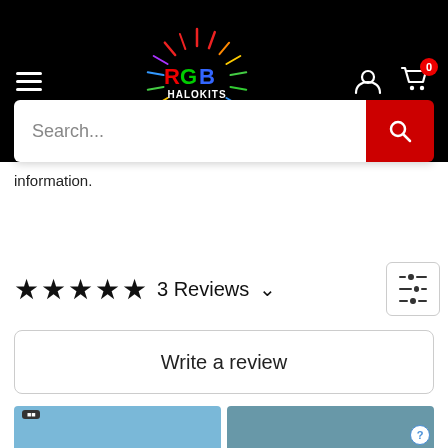RGB Halokits navigation bar with hamburger menu, logo, user icon, and cart with 0 items
Search...
information.
★★★★★ 3 Reviews ∨
Write a review
[Figure (photo): Blue sky photo thumbnail (left)]
[Figure (photo): Dark car/street photo thumbnail (right) with help circle icon]